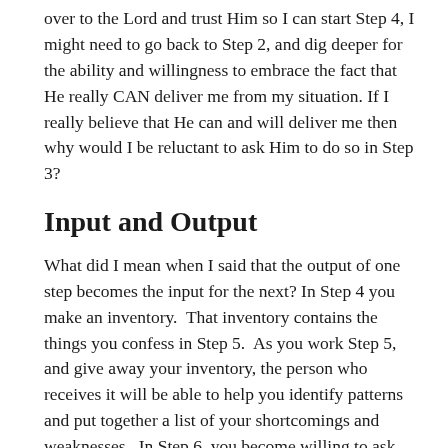over to the Lord and trust Him so I can start Step 4, I might need to go back to Step 2, and dig deeper for the ability and willingness to embrace the fact that He really CAN deliver me from my situation. If I really believe that He can and will deliver me then why would I be reluctant to ask Him to do so in Step 3?
Input and Output
What did I mean when I said that the output of one step becomes the input for the next? In Step 4 you make an inventory.  That inventory contains the things you confess in Step 5.  As you work Step 5, and give away your inventory, the person who receives it will be able to help you identify patterns and put together a list of your shortcomings and weaknesses.  In Step 6, you become willing to ask the Lord to remove them.  Truly, every one of the steps prepares us to work the next step, if we give ourselves to the work with humility and persistence.